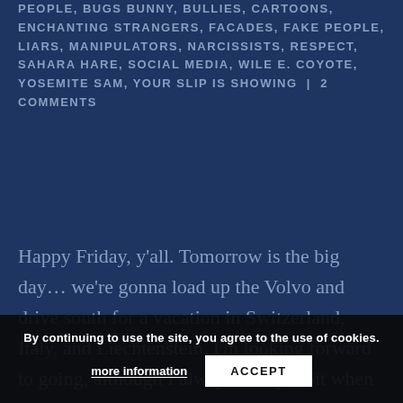PEOPLE, BUGS BUNNY, BULLIES, CARTOONS, ENCHANTING STRANGERS, FACADES, FAKE PEOPLE, LIARS, MANIPULATORS, NARCISSISTS, RESPECT, SAHARA HARE, SOCIAL MEDIA, WILE E. COYOTE, YOSEMITE SAM, YOUR SLIP IS SHOWING | 2 COMMENTS
Happy Friday, y'all. Tomorrow is the big day… we're gonna load up the Volvo and drive south for a vacation in Switzerland, Italy, and Liechtenstein. I'm looking forward to going, although I always worry a bit when we leave home. I especially worry about Arran, who enjoys his independence more than he used to when he was younger. But one of them can come and stay, li...
By continuing to use the site, you agree to the use of cookies. more information ACCEPT